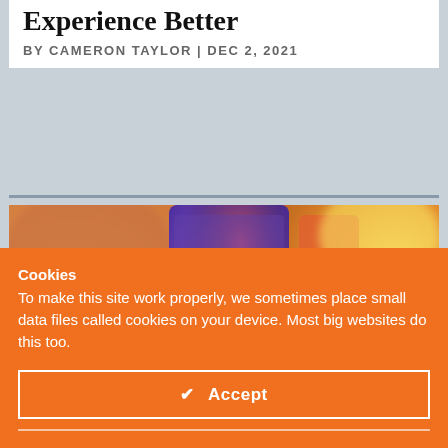Experience Better
BY CAMERON TAYLOR | DEC 2, 2021
[Figure (photo): Smartphone displaying a WiFi symbol icon with orange and purple tones, photographed with a bokeh background]
Cookies
To make this site work properly, we sometimes place small data files called cookies on your device. Most big websites do this too.
✔ Accept